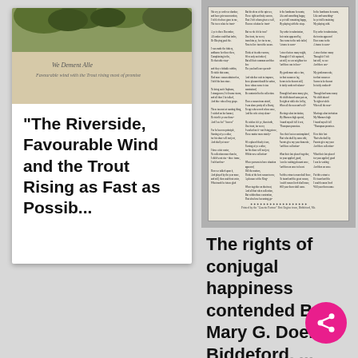[Figure (illustration): Old print/etching of a riverside scene with foliage at top, handwritten script title and subtitle below]
"The Riverside, Favourable Wind and the Trout Rising as Fast as Possib..."
[Figure (photo): Photograph of a printed broadside with multiple columns of verse text, decorative border at bottom]
The rights of conjugal happiness contended By Mary G. Doe. Biddeford, ...
Verse.; Title. Available also through the Library of Congress web site in two forms: as facsimile page images and as full text in SGML. Printed Ephemera Collection; Portfolio 27, Folder 9.